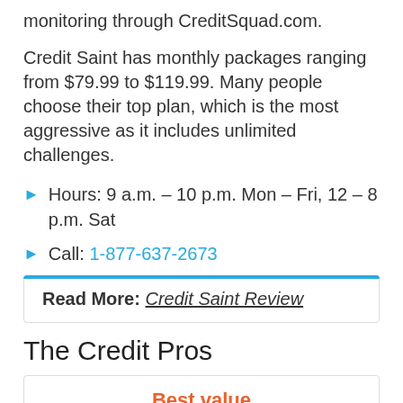monitoring through CreditSquad.com.
Credit Saint has monthly packages ranging from $79.99 to $119.99. Many people choose their top plan, which is the most aggressive as it includes unlimited challenges.
Hours: 9 a.m. – 10 p.m. Mon – Fri, 12 – 8 p.m. Sat
Call: 1-877-637-2673
Read More: Credit Saint Review
The Credit Pros
Best value